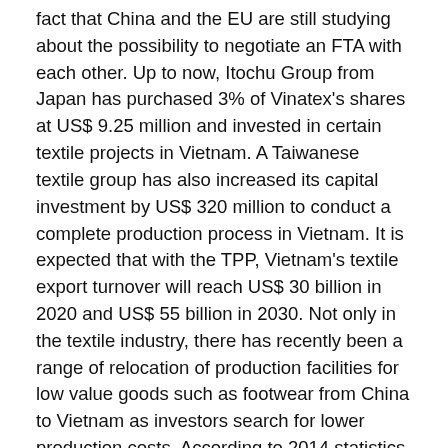fact that China and the EU are still studying about the possibility to negotiate an FTA with each other. Up to now, Itochu Group from Japan has purchased 3% of Vinatex's shares at US$ 9.25 million and invested in certain textile projects in Vietnam. A Taiwanese textile group has also increased its capital investment by US$ 320 million to conduct a complete production process in Vietnam. It is expected that with the TPP, Vietnam's textile export turnover will reach US$ 30 billion in 2020 and US$ 55 billion in 2030. Not only in the textile industry, there has recently been a range of relocation of production facilities for low value goods such as footwear from China to Vietnam as investors search for lower production costs. According to 2014 statistics, more than 70% of foreign direct investment projects in Vietnam was in the manufacturing and assembly processing sectors. This number has already included low value-added textile and material manufacturing from